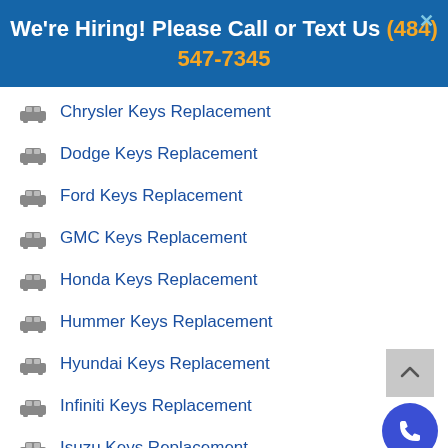We're Hiring! Please Call or Text Us (484) 547-7345
Chrysler Keys Replacement
Dodge Keys Replacement
Ford Keys Replacement
GMC Keys Replacement
Honda Keys Replacement
Hummer Keys Replacement
Hyundai Keys Replacement
Infiniti Keys Replacement
Isuzu Keys Replacement